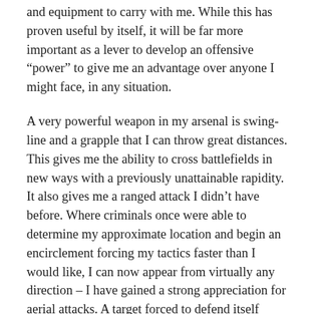and equipment to carry with me. While this has proven useful by itself, it will be far more important as a lever to develop an offensive “power” to give me an advantage over anyone I might face, in any situation.
A very powerful weapon in my arsenal is swing-line and a grapple that I can throw great distances. This gives me the ability to cross battlefields in new ways with a previously unattainable rapidity. It also gives me a ranged attack I didn’t have before. Where criminals once were able to determine my approximate location and begin an encirclement forcing my tactics faster than I would like, I can now appear from virtually any direction – I have gained a strong appreciation for aerial attacks. A target forced to defend itself while looking up is much less stable and much more easily disoriented.
Sudden changes in visibility are further upsetting to